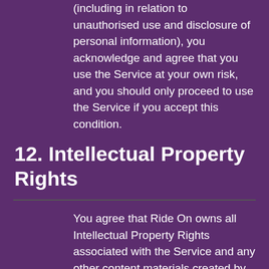(including in relation to unauthorised use and disclosure of personal information), you acknowledge and agree that you use the Service at your own risk, and you should only proceed to use the Service if you accept this condition.
12. Intellectual Property Rights
You agree that Ride On owns all Intellectual Property Rights associated with the Service and any other content materials created by or on behalf of Ride On (including but not limited to images, photographs, animations, video, audio, text, software code, functionality, the interface, user feedback and accompanying printed or marketing materials).
13. Changes to the Service